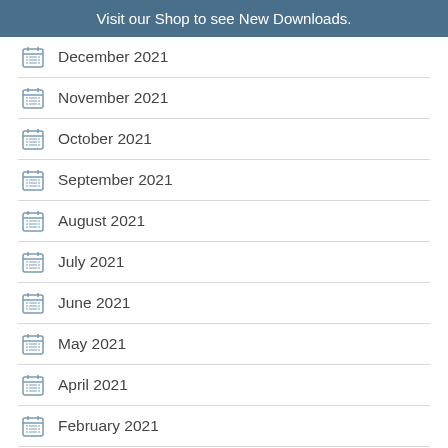Visit our Shop to see New Downloads.
December 2021
November 2021
October 2021
September 2021
August 2021
July 2021
June 2021
May 2021
April 2021
February 2021
January 2021
December 2020
November 2020